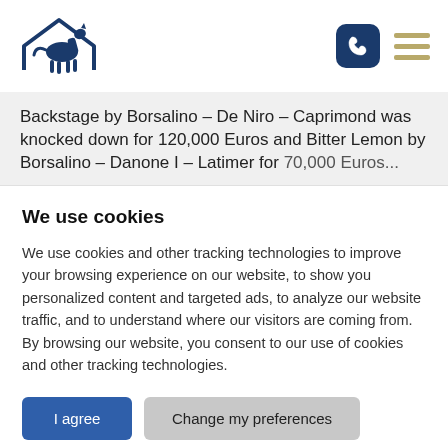[Figure (logo): Horse with house outline logo in dark navy blue, and two navigation icons: a phone button (dark navy rounded square) and a hamburger menu (three gold/tan lines)]
Backstage by Borsalino – De Niro – Caprimond was knocked down for 120,000 Euros and Bitter Lemon by Borsalino – Danone I – Latimer for 70,000 Euros...
We use cookies
We use cookies and other tracking technologies to improve your browsing experience on our website, to show you personalized content and targeted ads, to analyze our website traffic, and to understand where our visitors are coming from. By browsing our website, you consent to our use of cookies and other tracking technologies.
I agree | Change my preferences